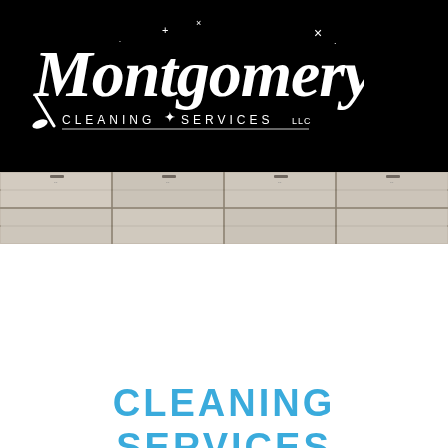[Figure (logo): Montgomery's Cleaning Services LLC logo — white script/serif text on black background with sparkle star decorations]
[Figure (photo): Interior ceiling photo showing commercial drop ceiling tiles with grid framework in beige/grey tones]
CLEANING SERVICES WE OFFER